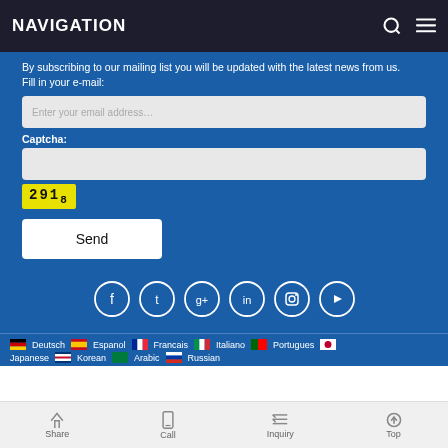NAVIGATION
By subscribing to our mailing list you will be updated with the latest news from us.
Fill in your e-mail:
[Figure (screenshot): Email input field with placeholder text 'Enter your email address…']
Captcha:
[Figure (screenshot): Captcha input field and captcha image showing '2918']
[Figure (screenshot): Send button]
[Figure (infographic): Social media icons in circles: Facebook (f), Twitter, Google+, LinkedIn, Instagram, YouTube]
Deutsch   Espanol   Francais   Italiano   Portugues   Japanese   Korean   Arabic   Russian
Share   Call   Inquiry   Top